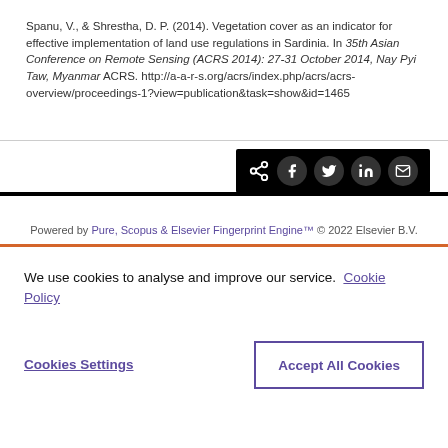Spanu, V., & Shrestha, D. P. (2014). Vegetation cover as an indicator for effective implementation of land use regulations in Sardinia. In 35th Asian Conference on Remote Sensing (ACRS 2014): 27-31 October 2014, Nay Pyi Taw, Myanmar ACRS. http://a-a-r-s.org/acrs/index.php/acrs/acrs-overview/proceedings-1?view=publication&task=show&id=1465
[Figure (other): Social sharing buttons bar with share icon and buttons for Facebook, Twitter, LinkedIn, and email on a black background]
Powered by Pure, Scopus & Elsevier Fingerprint Engine™ © 2022 Elsevier B.V.
We use cookies to analyse and improve our service. Cookie Policy
Cookies Settings    Accept All Cookies